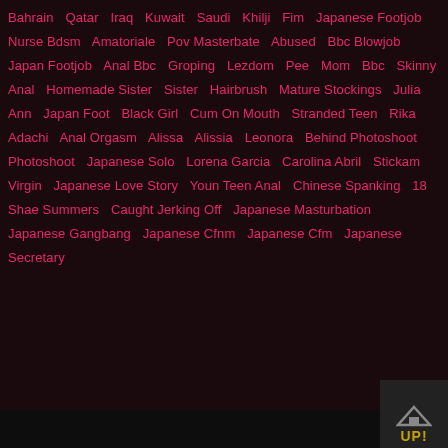Bahrain Qatar Iraq Kuwait Saudi Khilji Fim Japanese Footjob Nurse Bdsm Amatoriale Pov Masterbate Abused Bbc Blowjob Japan Footjob Anal Bbc Groping Lezdom Pee Mom Bbc Skinny Anal Homemade Sister Sister Hairbrush Mature Stockings Julia Ann Japan Foot Black Girl Cum On Mouth Stranded Teen Rika Adachi Anal Orgasm Alissa Alissia Leonora Behind Photoshoot Photoshoot Japanese Solo Lorena Garcia Carolina Abril Stickam Virgin Japanese Love Story Youn Teen Anal Chinese Spanking 18 Shae Summers Caught Jerking Off Japanese Masturbation Japanese Gangbang Japanese Cfnm Japanese Cfm Japanese Secretary
UP!